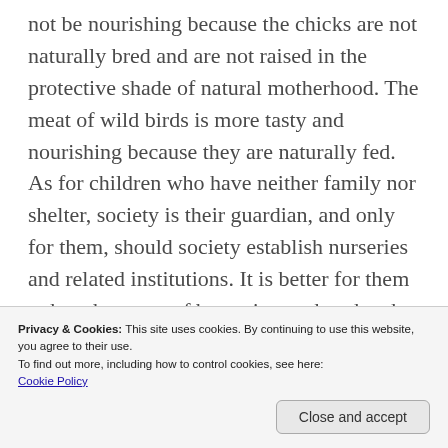not be nourishing because the chicks are not naturally bred and are not raised in the protective shade of natural motherhood. The meat of wild birds is more tasty and nourishing because they are naturally fed. As for children who have neither family nor shelter, society is their guardian, and only for them, should society establish nurseries and related institutions. It is better for them to be taken care of by society rather than by individuals who are not their parents. If a test were carried out to discover
Privacy & Cookies: This site uses cookies. By continuing to use this website, you agree to their use.
To find out more, including how to control cookies, see here:
Cookie Policy